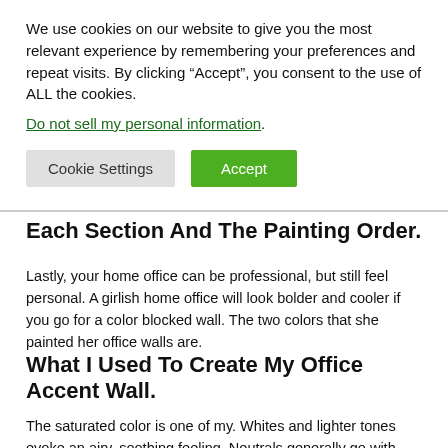We use cookies on our website to give you the most relevant experience by remembering your preferences and repeat visits. By clicking “Accept”, you consent to the use of ALL the cookies.
Do not sell my personal information.
Cookie Settings | Accept
Each Section And The Painting Order.
Lastly, your home office can be professional, but still feel personal. A girlish home office will look bolder and cooler if you go for a color blocked wall. The two colors that she painted her office walls are.
What I Used To Create My Office Accent Wall.
The saturated color is one of my. Whites and lighter tones evoke an airy, soothing feeling. Neutrals generally go with